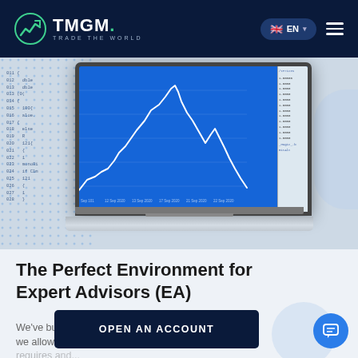TMGM. TRADE THE WORLD | EN
[Figure (screenshot): Laptop computer displaying a financial trading chart (line chart on blue background) in MetaTrader or similar platform, with code/script overlay on the left side and price panel on the right]
The Perfect Environment for Expert Advisors (EA)
We've built the perfect environment for EAs to thrive - we allow scalping, hedging, all the trading techniques required a...
OPEN AN ACCOUNT